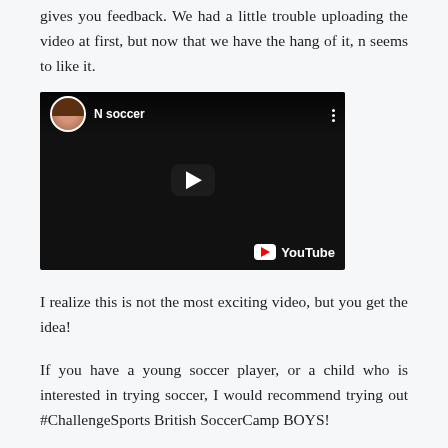gives you feedback. We had a little trouble uploading the video at first, but now that we have the hang of it, n seems to like it.
[Figure (screenshot): YouTube video thumbnail showing a channel called 'N soccer' with a female avatar, play button, and YouTube logo on a dark background.]
I realize this is not the most exciting video, but you get the idea!
If you have a young soccer player, or a child who is interested in trying soccer, I would recommend trying out #ChallengeSports British SoccerCamp BOYS!